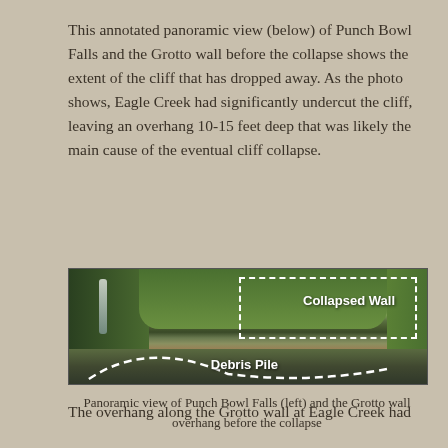This annotated panoramic view (below) of Punch Bowl Falls and the Grotto wall before the collapse shows the extent of the cliff that has dropped away. As the photo shows, Eagle Creek had significantly undercut the cliff, leaving an overhang 10-15 feet deep that was likely the main cause of the eventual cliff collapse.
[Figure (photo): Annotated panoramic photo of Punch Bowl Falls and the Grotto wall before the collapse, showing a dashed white outline indicating the 'Collapsed Wall' region in the upper portion and a 'Debris Pile' label in the lower portion near the water.]
Panoramic view of Punch Bowl Falls (left) and the Grotto wall overhang before the collapse
The overhang along the Grotto wall at Eagle Creek had